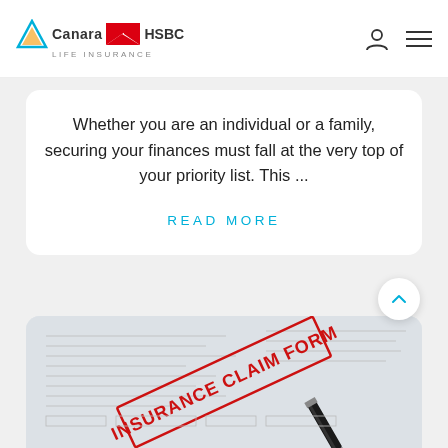Canara HSBC Life Insurance
Whether you are an individual or a family, securing your finances must fall at the very top of your priority list. This ...
READ MORE
[Figure (photo): Insurance claim form with a pen resting on it, stamped with 'INSURANCE CLAIM FORM' in red text]